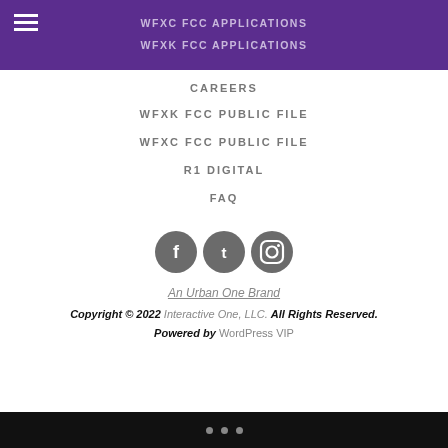WFXC FCC APPLICATIONS
WFXK FCC APPLICATIONS
CAREERS
WFXK FCC PUBLIC FILE
WFXC FCC PUBLIC FILE
R1 DIGITAL
FAQ
[Figure (illustration): Social media icons: Facebook, Twitter, Instagram in grey circles]
An Urban One Brand
Copyright © 2022 Interactive One, LLC. All Rights Reserved.
Powered by WordPress VIP